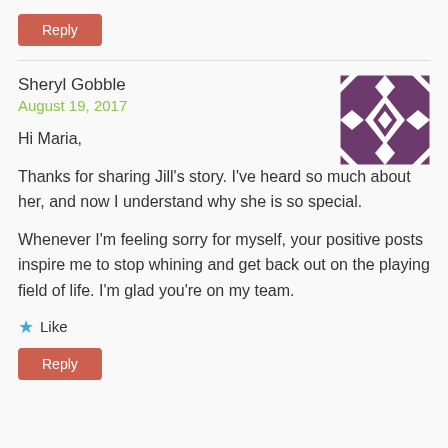Reply
Sheryl Gobble
August 19, 2017
[Figure (illustration): Purple and white geometric quilt pattern avatar image]
Hi Maria,
Thanks for sharing Jill's story. I've heard so much about her, and now I understand why she is so special.

Whenever I'm feeling sorry for myself, your positive posts inspire me to stop whining and get back out on the playing field of life. I'm glad you're on my team.
★ Like
Reply